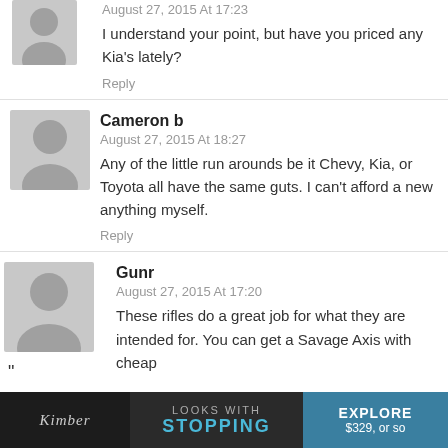August 27, 2015 At 17:23
I understand your point, but have you priced any Kia's lately?
Reply
Cameron b
August 27, 2015 At 18:27
Any of the little run arounds be it Chevy, Kia, or Toyota all have the same guts. I can't afford a new anything myself.
Reply
Gunr
August 27, 2015 At 17:20
These rifles do a great job for what they are intended for. You can get a Savage Axis with cheap
[Figure (infographic): Advertisement banner for Kimber, showing 'LOOKS WITH STOPPING' text in teal and 'EXPLORE' button, with price text '$329, or so']